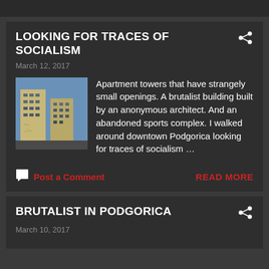LOOKING FOR TRACES OF SOCIALISM
March 12, 2017
[Figure (photo): Apartment building towers with small windows against a blue sky, Soviet-era brutalist architecture]
Apartment towers that have strangely small openings. A brutalist building built by an anonymous architect. And an abandoned sports complex. I walked around downtown Podgorica looking for traces of socialism …
Post a Comment
READ MORE
BRUTALIST IN PODGORICA
March 10, 2017